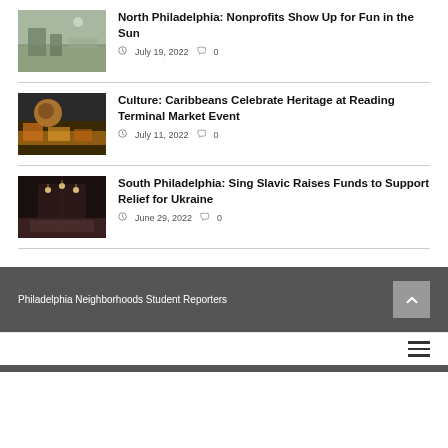[Figure (photo): Outdoor event scene in North Philadelphia]
North Philadelphia: Nonprofits Show Up for Fun in the Sun
July 19, 2022  0
[Figure (photo): Caribbean food market scene at Reading Terminal Market]
Culture: Caribbeans Celebrate Heritage at Reading Terminal Market Event
July 11, 2022  0
[Figure (photo): Indoor concert venue for Sing Slavic fundraiser]
South Philadelphia: Sing Slavic Raises Funds to Support Relief for Ukraine
June 29, 2022  0
Philadelphia Neighborhoods Student Reporters